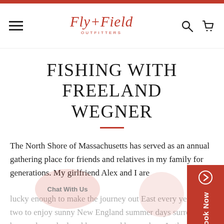Fly + Field Outfitters — navigation header with hamburger menu, logo, search and cart icons
FISHING WITH FREELAND WEGNER
The North Shore of Massachusetts has served as an annual gathering place for friends and relatives in my family for generations. My girlfriend Alex and I are lucky enough to make the journey out East every year or two to enjoy sunny New England summer days surrounded by good people, local brews, and breezy be... In the case, travel provides opportunity to pack a fly rod and experience a species and style of fishing different from the country of...